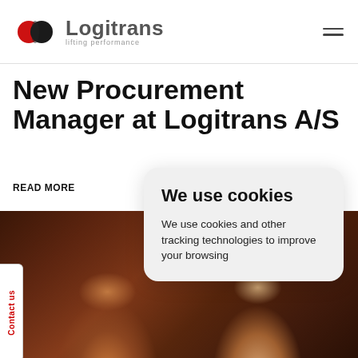Logitrans — lifting performance
New Procurement Manager at Logitrans A/S
READ MORE
[Figure (photo): Two women smiling in an industrial/warehouse setting. Left woman has curly red hair and wears a dark polka dot blouse. Right woman has curly grey-brown hair and wears a white blazer over dark top.]
Contact us
We use cookies
We use cookies and other tracking technologies to improve your browsing